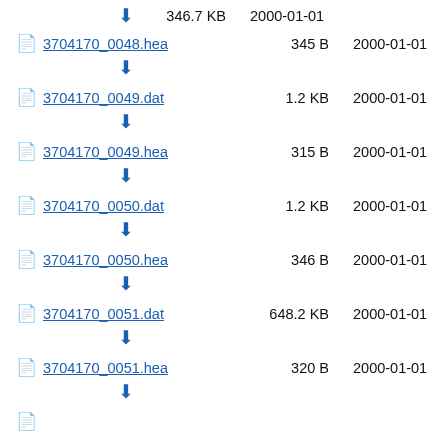346.7 KB  2000-01-01  (download icon, partial top row)
3704170_0048.hea  345 B  2000-01-01
3704170_0049.dat  1.2 KB  2000-01-01
3704170_0049.hea  315 B  2000-01-01
3704170_0050.dat  1.2 KB  2000-01-01
3704170_0050.hea  346 B  2000-01-01
3704170_0051.dat  648.2 KB  2000-01-01
3704170_0051.hea  320 B  2000-01-01